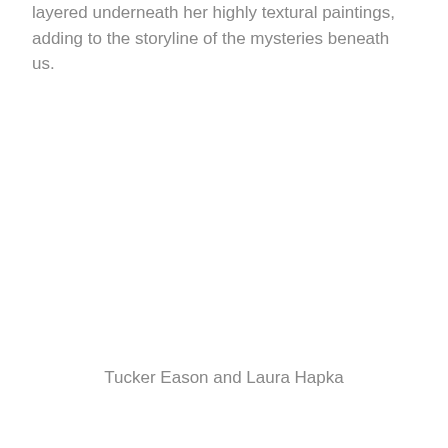layered underneath her highly textural paintings, adding to the storyline of the mysteries beneath us.
Tucker Eason and Laura Hapka